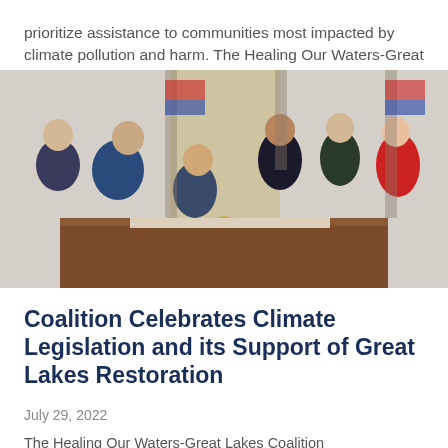prioritize assistance to communities most impacted by climate pollution and harm. The Healing Our Waters-Great Lakes Coalition
[Figure (photo): President Biden seated at a desk signing legislation, surrounded by lawmakers including members of Congress in a formal room with American flags and a Presidential seal backdrop.]
Coalition Celebrates Climate Legislation and its Support of Great Lakes Restoration
July 29, 2022
The Healing Our Waters-Great Lakes Coalition